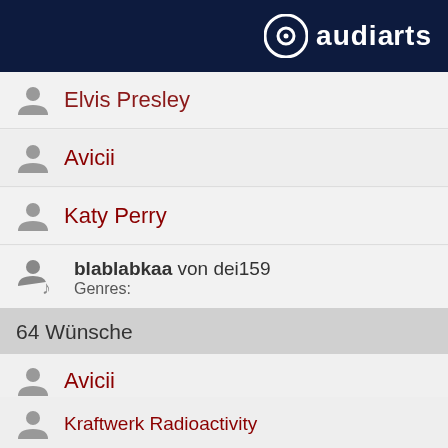audiarts
Elvis Presley
Avicii
Katy Perry
blablabkaa von dei159 Genres:
64 Wünsche
Avicii
Kraftwerk Radioactivity
Andrea Berg
One Republic